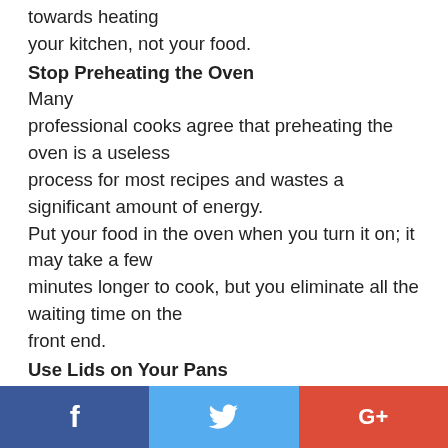towards heating your kitchen, not your food.
Stop Preheating the Oven
Many professional cooks agree that preheating the oven is a useless process for most recipes and wastes a significant amount of energy. Put your food in the oven when you turn it on; it may take a few minutes longer to cook, but you eliminate all the waiting time on the front end.
Use Lids on Your Pans
Cover all of your pots and pans with proper-fitting lids when you are
[Figure (other): Social share buttons: Facebook (blue), Twitter (light blue), Google+ (red)]